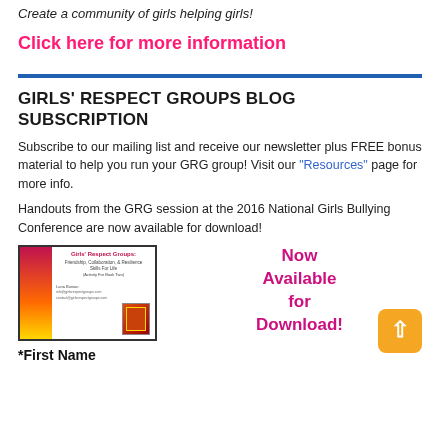Create a community of girls helping girls!
Click here for more information
GIRLS' RESPECT GROUPS BLOG SUBSCRIPTION
Subscribe to our mailing list and receive our newsletter plus FREE bonus material to help you run your GRG group! Visit our "Resources" page for more info.
Handouts from the GRG session at the 2016 National Girls Bullying Conference are now available for download!
[Figure (illustration): Book cover for Girls' Respect Groups: Friendship, Collaboration, & Resilience Skills For Life by Lana Bunian, with a pink/orange/yellow vertical bar on the left and small book image at bottom right]
Now Available for Download!
*First Name